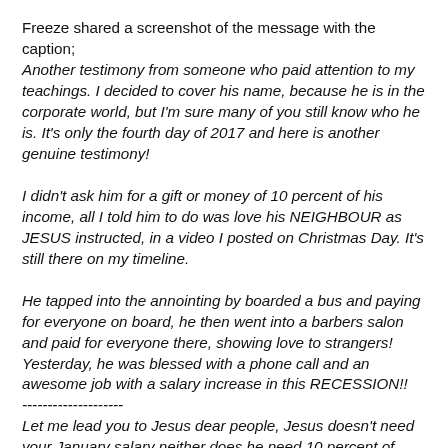Freeze shared a screenshot of the message with the caption;
Another testimony from someone who paid attention to my teachings. I decided to cover his name, because he is in the corporate world, but I'm sure many of you still know who he is. It's only the fourth day of 2017 and here is another genuine testimony!

I didn't ask him for a gift or money of 10 percent of his income, all I told him to do was love his NEIGHBOUR as JESUS instructed, in a video I posted on Christmas Day. It's still there on my timeline.

He tapped into the annointing by boarded a bus and paying for everyone on board, he then went into a barbers salon and paid for everyone there, showing love to strangers! Yesterday, he was blessed with a phone call and an awesome job with a salary increase in this RECESSION!!
--------------------
Let me lead you to Jesus dear people, Jesus doesn't need your January salary neither does he need 10 percent of your